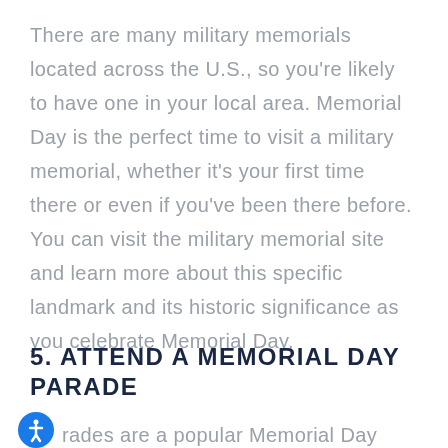There are many military memorials located across the U.S., so you're likely to have one in your local area. Memorial Day is the perfect time to visit a military memorial, whether it's your first time there or even if you've been there before. You can visit the military memorial site and learn more about this specific landmark and its historic significance as you celebrate Memorial Day.
5. ATTEND A MEMORIAL DAY PARADE
Parades are a popular Memorial Day pastime.